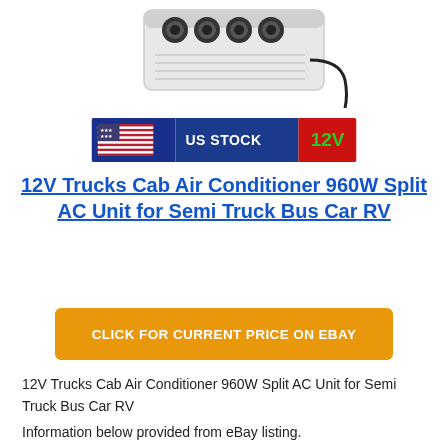[Figure (photo): Product photo of a white split AC unit with four circular vents on top, with a power cable, shown against white background. Below it is a banner with a US flag, 'US STOCK' text in white on dark blue, and '12V' in green on red background.]
12V Trucks Cab Air Conditioner 960W Split AC Unit for Semi Truck Bus Car RV
CLICK FOR CURRENT PRICE ON EBAY
12V Trucks Cab Air Conditioner 960W Split AC Unit for Semi Truck Bus Car RV
Information below provided from eBay listing.